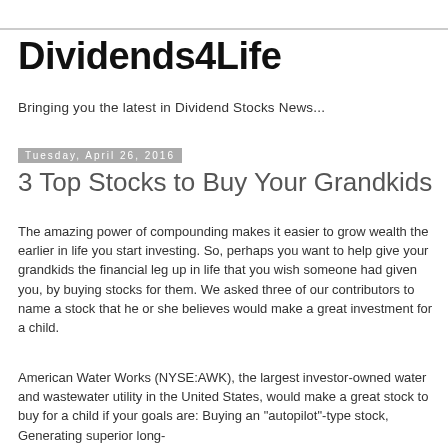Dividends4Life
Bringing you the latest in Dividend Stocks News...
Tuesday, April 26, 2016
3 Top Stocks to Buy Your Grandkids
The amazing power of compounding makes it easier to grow wealth the earlier in life you start investing. So, perhaps you want to help give your grandkids the financial leg up in life that you wish someone had given you, by buying stocks for them. We asked three of our contributors to name a stock that he or she believes would make a great investment for a child.
American Water Works (NYSE:AWK), the largest investor-owned water and wastewater utility in the United States, would make a great stock to buy for a child if your goals are: Buying an "autopilot"-type stock, Generating superior long-